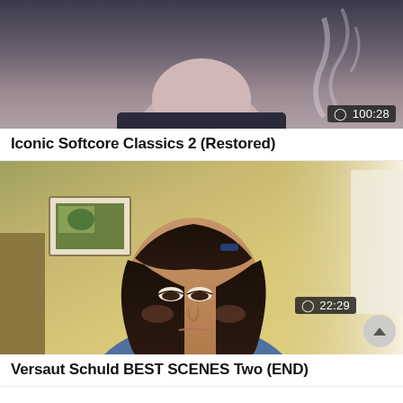[Figure (photo): Video thumbnail showing close-up of person's chin/neck area, dark moody background, with duration badge 100:28]
Iconic Softcore Classics 2 (Restored)
[Figure (photo): Video thumbnail showing young woman with dark hair looking down, indoor setting, kitchen visible in background, with duration badge 22:29]
Versaut Schuld BEST SCENES Two (END)